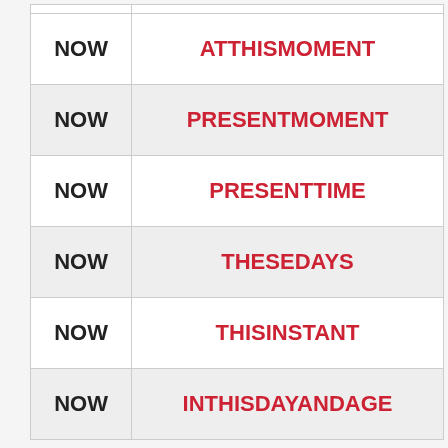|  |  |
| --- | --- |
| NOW | ATTHISMOMENT |
| NOW | PRESENTMOMENT |
| NOW | PRESENTTIME |
| NOW | THESEDAYS |
| NOW | THISINSTANT |
| NOW | INTHISDAYANDAGE |